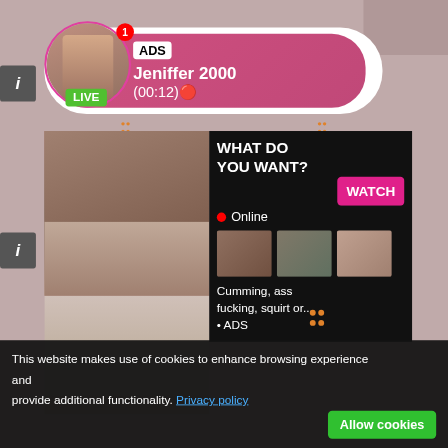[Figure (screenshot): Adult advertisement screenshot showing a live cam notification bubble with profile photo, LIVE badge, ADS label, username Jeniffer 2000, timestamp (00:12), and an adult content advertisement block with WATCH button, Online indicator, thumbnail images, text 'Cumming, ass fucking, squirt or... • ADS', and a cookie consent bar at the bottom reading 'This website makes use of cookies to enhance browsing experience and provide additional functionality. Privacy policy' with an 'Allow cookies' button.]
ADS
Jeniffer 2000
(00:12)🔴
LIVE
WHAT DO YOU WANT?
WATCH
Online
Cumming, ass fucking, squirt or...
• ADS
This website makes use of cookies to enhance browsing experience and provide additional functionality. Privacy policy
Allow cookies